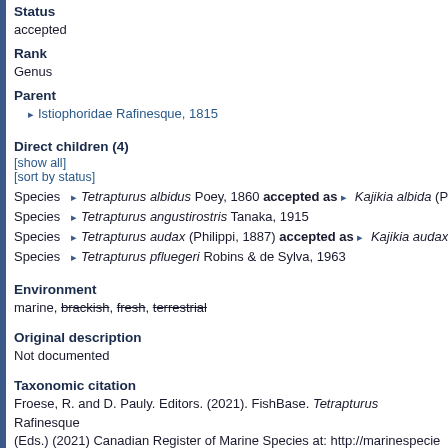Status
accepted
Rank
Genus
Parent
Istiophoridae Rafinesque, 1815
Direct children (4)
[show all]
[sort by status]
Species  Tetrapturus albidus Poey, 1860 accepted as  Kajikia albida (P
Species  Tetrapturus angustirostris Tanaka, 1915
Species  Tetrapturus audax (Philippi, 1887) accepted as  Kajikia audax
Species  Tetrapturus pfluegeri Robins & de Sylva, 1963
Environment
marine, brackish, fresh, terrestrial
Original description
Not documented
Taxonomic citation
Froese, R. and D. Pauly. Editors. (2021). FishBase. Tetrapturus Rafinesque (Eds.) (2021) Canadian Register of Marine Species at: http://marinespecies 08-31